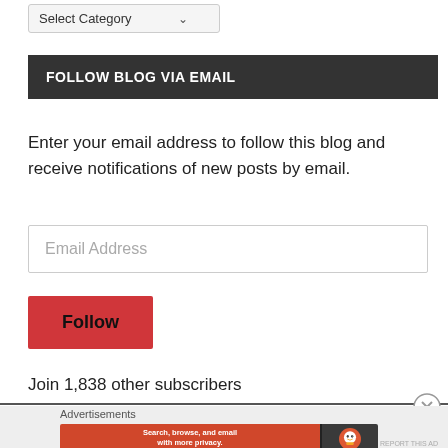[Figure (screenshot): Select Category dropdown widget]
FOLLOW BLOG VIA EMAIL
Enter your email address to follow this blog and receive notifications of new posts by email.
[Figure (screenshot): Email Address input field]
[Figure (screenshot): Follow button (red)]
Join 1,838 other subscribers
Advertisements
[Figure (screenshot): DuckDuckGo advertisement banner: Search, browse, and email with more privacy. All in One Free App]